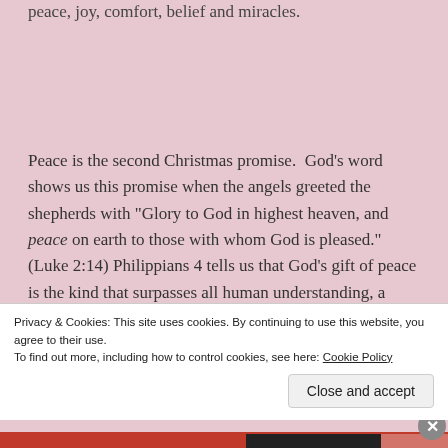peace, joy, comfort, belief and miracles.
Peace is the second Christmas promise.  God’s word shows us this promise when the angels greeted the shepherds with “Glory to God in highest heaven, and peace on earth to those with whom God is pleased.” (Luke 2:14) Philippians 4 tells us that God’s gift of peace is the kind that surpasses all human understanding, a
Privacy & Cookies: This site uses cookies. By continuing to use this website, you agree to their use.
To find out more, including how to control cookies, see here: Cookie Policy
Close and accept